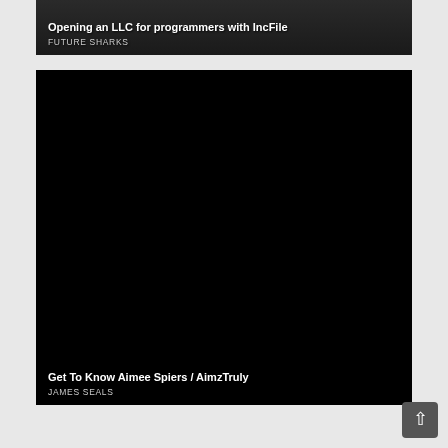[Figure (screenshot): Thumbnail for video titled 'Opening an LLC for programmers with IncFile' by FUTURE SHARKS — dark background with partial view of people]
[Figure (screenshot): Thumbnail for video titled 'Get To Know Aimee Spiers / AimzTruly' by JAMES SEALS — predominantly black background]